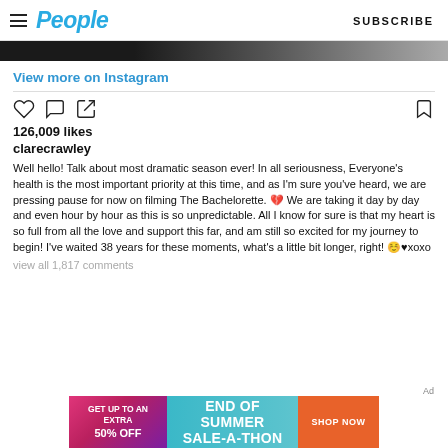People | SUBSCRIBE
[Figure (photo): Partial image strip at top, dark/blurred photo]
View more on Instagram
126,009 likes
clarecrawley
Well hello! Talk about most dramatic season ever! In all seriousness, Everyone's health is the most important priority at this time, and as I'm sure you've heard, we are pressing pause for now on filming The Bachelorette. 💔 We are taking it day by day and even hour by hour as this is so unpredictable. All I know for sure is that my heart is so full from all the love and support this far, and am still so excited for my journey to begin! I've waited 38 years for these moments, what's a little bit longer, right! ☺️♥xoxo
view all 1,817 comments
[Figure (screenshot): Ad banner: GET UP TO AN EXTRA 50% OFF — END OF SUMMER SALE-A-THON — SHOP NOW]